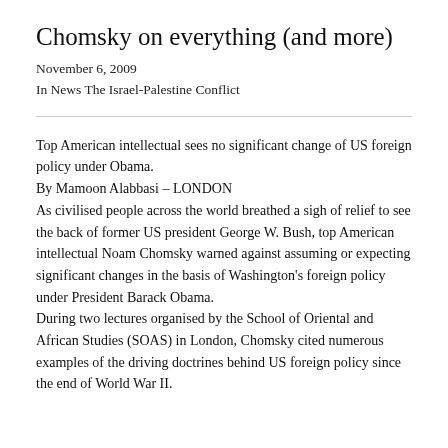Chomsky on everything (and more)
November 6, 2009
In News The Israel-Palestine Conflict
Top American intellectual sees no significant change of US foreign policy under Obama.
By Mamoon Alabbasi – LONDON
As civilised people across the world breathed a sigh of relief to see the back of former US president George W. Bush, top American intellectual Noam Chomsky warned against assuming or expecting significant changes in the basis of Washington's foreign policy under President Barack Obama.
During two lectures organised by the School of Oriental and African Studies (SOAS) in London, Chomsky cited numerous examples of the driving doctrines behind US foreign policy since the end of World War II.